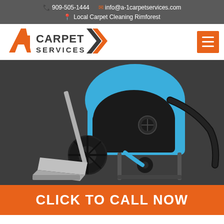909-505-1444  info@a-1carpetservices.com  Local Carpet Cleaning Rimforest
[Figure (logo): A1 Carpet Services logo with orange stylized A1 and dark text]
[Figure (photo): Professional carpet cleaning machine on dark carpet — blue tank unit with black wheels, silver wand, hoses]
CLICK TO CALL NOW